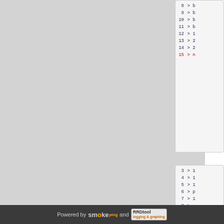[Figure (screenshot): Code listing box (top right, partially visible) showing line numbers 8-15 with code content. Line 15 is highlighted in red.]
[Figure (screenshot): Code listing box (bottom right, partially visible) showing line numbers 3-15 with code content. Line 15 is highlighted in red.]
Powered by smokeping and RRDtool